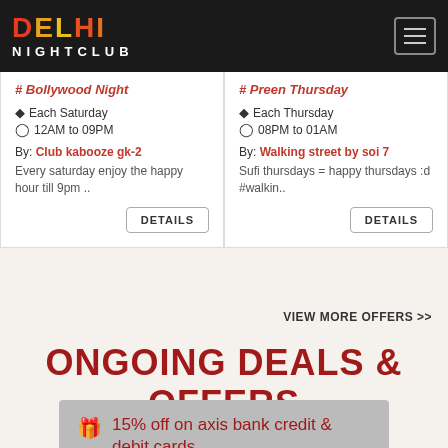DELHI NIGHTCLUB
# Bollywood Night
◆ Each Saturday
🕐 12AM to 09PM
By: Club kabooze gk-2
Every saturday enjoy the happy hour till 9pm ...
DETAILS
# Preen Thursday
◆ Each Thursday
🕐 08PM to 01AM
By: Walking street by soi 7
Sufi thursdays = happy thursdays :d #walkin..
DETAILS
VIEW MORE OFFERS >>
ONGOING DEALS & OFFERS
🎁 15% off on axis bank credit & debit cards..